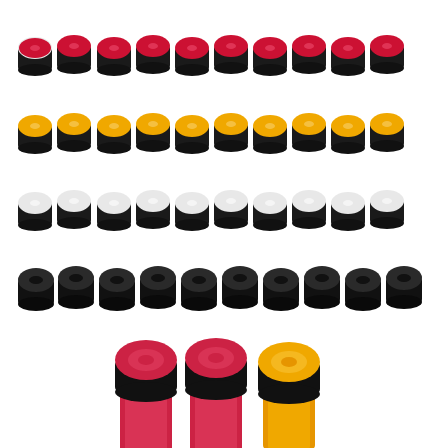[Figure (photo): Product photo showing multiple rolls of sports grip tape/overgrip in four colors (red, yellow, white, black) arranged in four rows of approximately 10 rolls each at the top, and three larger unrolled grip tape rolls at the bottom (two red, one yellow), all on white background.]